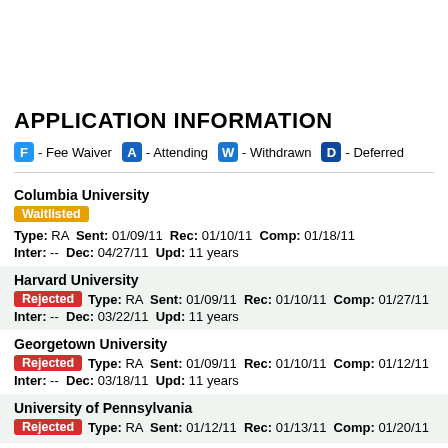APPLICATION INFORMATION
F - Fee Waiver   A - Attending   W - Withdrawn   D - Deferred
Columbia University
Waitlisted  Type: RA  Sent: 01/09/11  Rec: 01/10/11  Comp: 01/18/11
Inter: --  Dec: 04/27/11  Upd: 11 years
Harvard University
Rejected  Type: RA  Sent: 01/09/11  Rec: 01/10/11  Comp: 01/27/11
Inter: --  Dec: 03/22/11  Upd: 11 years
Georgetown University
Rejected  Type: RA  Sent: 01/09/11  Rec: 01/10/11  Comp: 01/12/11
Inter: --  Dec: 03/18/11  Upd: 11 years
University of Pennsylvania
Rejected  Type: RA  Sent: 01/12/11  Rec: 01/13/11  Comp: 01/20/11